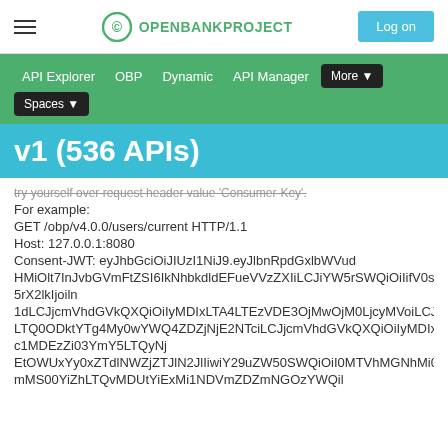OpenBankProject — Log on
API Explorer  OBP  Dynamic  API Manager  More ▾  Spaces ▾
v1 (536 APIs)
try yourself over request header value 'Consumer-Key'. For example:
GET /obp/v4.0.0/users/current HTTP/1.1
Host: 127.0.0.1:8080
Consent-JWT: eyJhbGciOiJIUzI1NiJ9.eyJlbnRpdGxlbWVudHMiOlt7InJvbGUiOiJDYW5HZXRBbnlVc2VyIiwic3RhdGUiOiJhbGl2ZSJ9XSwic3ViIjoiZW1haWwlM0Ftc2hvZWZmaWVsZCU0MGdtYWlsLmNvbSIsImF1ZCI6InYxIiwibmJmIjoxNjMxNTQ1NzI0LCJpc3MiOiJodHRwczovL2FwaS5jdXIub3BlbmJhbmtwcm9qZWN0LmNvbSIsImV4cCI6MTYzMTU0OTMyNH0.
HMiOlt7InJvbGVmFtZSI6IkNhbkdldEFueVVzZXIiLCJiYW5rSWQiOiIifV0sInN1YiI6ImVtYWlsJTNBbXNob2VmZmllbGQlNDBnbWFpbC5jb20iLCJhdWQiOiJ2MSIsIm5iZiI6MTYzMTU0NTcyNCwiaXNzIjoiaHR0cHM6Ly9hcGkuY3VyLm9wZW5iYW5rcHJvamVjdC5jb20iLCJleHAiOjE2MzE1NDkzMjR9
5rX2lkIjoiln
1dLCJjcmVhdGVkQXQiOiIyMDIxLTA4LTEzVDE3OjMwOjM0LjcyMVoiLCJiYW5rSWQiOiIifV0sInN1YiI6ImVtYWlsJTNBbXNob2VmZmllbGQlNDBnbWFpbC5jb20iLCJhdWQiOiJ2MSIsIm5iZiI6MTYzMTU0NTcyNCwiaXNzIjoiaHR0cHM6Ly9hcGkuY3VyLm9wZW5iYW5rcHJvamVjdC5jb20iLCJleHAiOjE2MzE1NDkzMjR9
LTQ0ODktYTg4My0wYWQ4ZDZjNjE2NTciLCJjcmVhdGVkQXQiOiIyMDIxLTA4LTEzVDE3OjMwOjM0LjcyMVoiLCJiYW5rSWQiOiIifV0sInN1YiI6ImVtYWlsJTNBbXNob2VmZmllbGQlNDBnbWFpbC5jb20iLCJhdWQiOiJ2MSIsIm5iZiI6MTYzMTU0NTcyNCwiaXNzIjoiaHR0cHM6Ly9hcGkuY3VyLm9wZW5iYW5rcHJvamVjdC5jb20iLCJleHAiOjE2MzE1NDkzMjR9
c1MDEzZi03YmY5LTQyNj
EtOWUxYy0xZTdlNWZjZTJlN2JlIiwiY29uZW50SWQiOiI0MTVhMGNhMi0wNDUtNGYxNi1iMGIyLTZiYjM0YmM0YzE3MSIsImNyZWF0ZWRBdCI6IjIwMjEtMDgtMTNUMTc6MzA6MzQuNzIxWiIsImJhbmtJZCI6IiJ9XSwic3ViIjoiZW1haWwlM0Ftc2hvZWZmaWVsZCU0MGdtYWlsLmNvbSIsImF1ZCI6InYxIiwibmJmIjoxNjMxNTQ1NzI0LCJpc3MiOiJodHRwczovL2FwaS5jdXIub3BlbmJhbmtwcm9qZWN0LmNvbSIsImV4cCI6MTYzMTU0OTMyNH0
mMS00YiZhLTQvMDUtYiExMi1NDVmZDZmNGOzYWQil